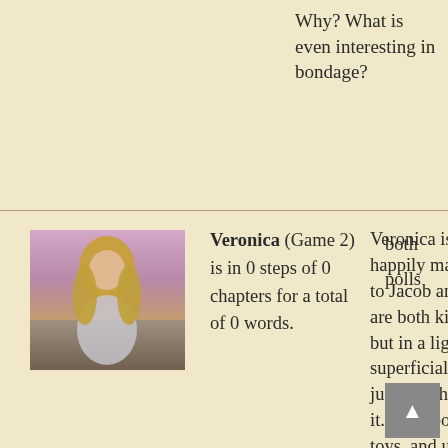Why? What is even interesting in bondage?
[Figure (photo): Photo of a woman with long blonde hair outdoors at dusk with a pink/purple sky background]
Veronica (Game 2) is in 0 steps of 0 chapters for a total of 0 words.
Veronica is happily married to Jacob and they are both kinky, but in a light superficial way, just like they love it. They bought toys, and use them occasionally,
both polls